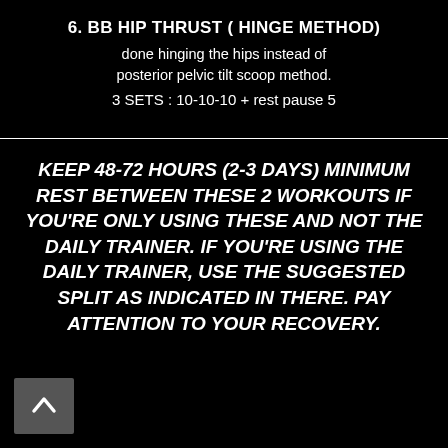6. BB HIP THRUST ( HINGE METHOD)
done hinging the hips instead of posterior pelvic tilt scoop method.
3 SETS : 10-10-10 + rest pause 5
KEEP 48-72 HOURS (2-3 DAYS) MINIMUM REST BETWEEN THESE 2 WORKOUTS IF YOU'RE ONLY USING THESE AND NOT THE DAILY TRAINER. IF YOU'RE USING THE DAILY TRAINER, USE THE SUGGESTED SPLIT AS INDICATED IN THERE. PAY ATTENTION TO YOUR RECOVERY.